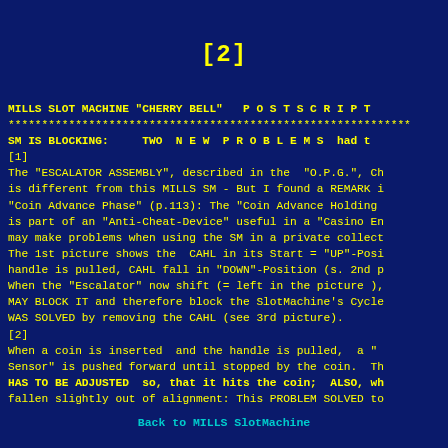[2]
MILLS SLOT MACHINE "CHERRY BELL"   P O S T S C R I P T
************************************************************
SM IS BLOCKING:    TWO  N E W  P R O B L E M S  had t
[1]
The "ESCALATOR ASSEMBLY", described in the  "O.P.G.", Ch
is different from this MILLS SM - But I found a REMARK i
"Coin Advance Phase" (p.113): The "Coin Advance Holding
is part of an "Anti-Cheat-Device" useful in a "Casino En
may make problems when using the SM in a private collect
The 1st picture shows the  CAHL in its Start = "UP"-Posi
handle is pulled, CAHL fall in "DOWN"-Position (s. 2nd p
When the "Escalator" now shift (= left in the picture ),
MAY BLOCK IT and therefore block the SlotMachine's Cycle
WAS SOLVED by removing the CAHL (see 3rd picture).
[2]
When a coin is inserted  and the handle is pulled,  a "
Sensor" is pushed forward until stopped by the coin.  Th
HAS TO BE ADJUSTED  so, that it hits the coin;  ALSO, wh
fallen slightly out of alignment: This PROBLEM SOLVED to
Back to MILLS SlotMachine